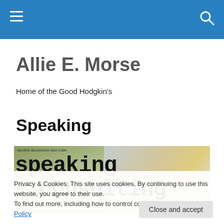Navigation bar with hamburger menu and search icon
Allie E. Morse
Home of the Good Hodgkin's
Speaking
[Figure (photo): Photo showing text overlay reading 'speaking & consulting' in typewriter font over a bookstore background (Brandeis Bookstore and Cafe visible)]
Privacy & Cookies: This site uses cookies. By continuing to use this website, you agree to their use.
To find out more, including how to control cookies, see here: Cookie Policy
Close and accept